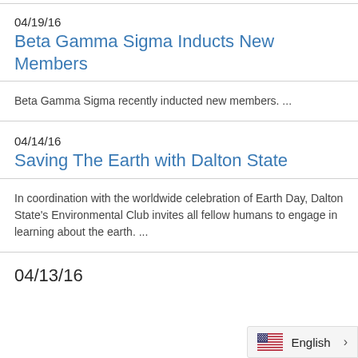04/19/16
Beta Gamma Sigma Inducts New Members
Beta Gamma Sigma recently inducted new members. ...
04/14/16
Saving The Earth with Dalton State
In coordination with the worldwide celebration of Earth Day, Dalton State's Environmental Club invites all fellow humans to engage in learning about the earth. ...
04/13/16
[Figure (other): Language selector widget showing US flag and 'English' label with right arrow]